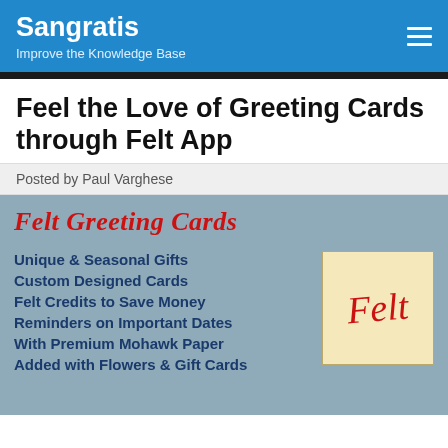Sangratis — Improve the Knowledge Base
Feel the Love of Greeting Cards through Felt App
Posted by Paul Varghese
[Figure (illustration): Felt Greeting Cards promotional image on a steel-blue background. Red italic heading 'Felt Greeting Cards'. Blue bold bullet features: Unique & Seasonal Gifts, Custom Designed Cards, Felt Credits to Save Money, Reminders on Important Dates, With Premium Mohawk Paper, Added with Flowers & Gift Cards. Yellow sticky-note logo with red handwritten 'Felt'.]